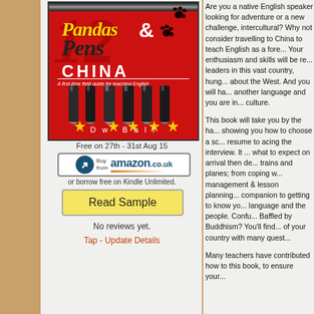[Figure (illustration): Book cover: Pandas & Pens CHINA - A first-time field guide for teaching English, by Dw Ball. Red background with paw prints, pens, stars.]
Free on 27th - 31st Aug 15
[Figure (logo): Buy from amazon.co.uk button]
or borrow free on Kindle Unlimited.
Read Sample
No reviews yet.
Tap - Update Details
Are you a native English speaker looking for adventure or a new challenge, intercultural? Why not consider travelling to China to teach English as a foreign language? Your enthusiasm and skills will be rewarded as the leaders in this vast country, hungry to learn about the West. And you will have to learn another language and you are immersed in a new culture.
This book will take you by the hand, showing you how to choose a school; from resume to acing the interview. It tells you what to expect on arrival then details of trains and planes; from coping with classroom management & lesson planning. It is your companion to getting to know your adoptive language and the people. Confused by Confucius? Baffled by Buddhism? You'll find yourself proud of your country with many quest...
Many teachers have contributed how to this book, to ensure your...